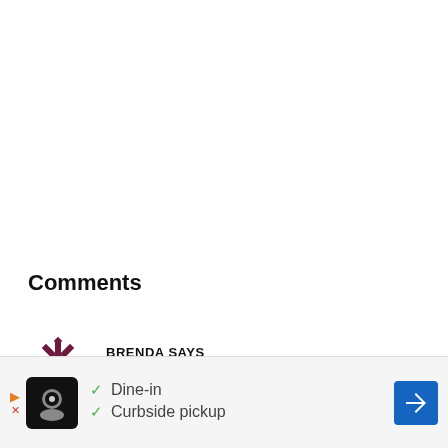Comments
BRENDA SAYS
DECEMBER 14, 2013 AT 8:13 AM
Oh my… these are super cute. What a great idea, I am actually kind of (more) because I am sooo g... for